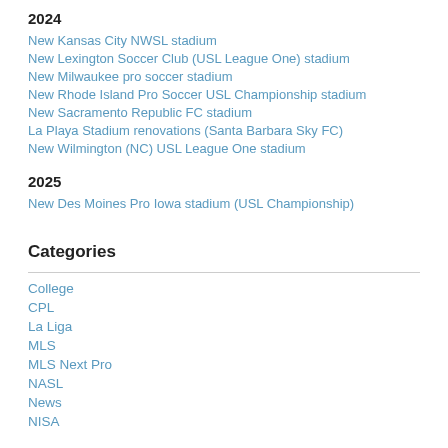2024
New Kansas City NWSL stadium
New Lexington Soccer Club (USL League One) stadium
New Milwaukee pro soccer stadium
New Rhode Island Pro Soccer USL Championship stadium
New Sacramento Republic FC stadium
La Playa Stadium renovations (Santa Barbara Sky FC)
New Wilmington (NC) USL League One stadium
2025
New Des Moines Pro Iowa stadium (USL Championship)
Categories
College
CPL
La Liga
MLS
MLS Next Pro
NASL
News
NISA